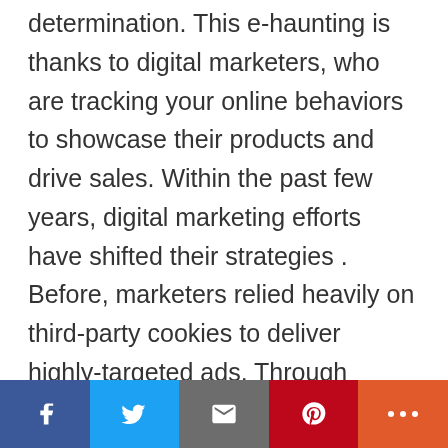determination. This e-haunting is thanks to digital marketers, who are tracking your online behaviors to showcase their products and drive sales. Within the past few years, digital marketing efforts have shifted their strategies . Before, marketers relied heavily on third-party cookies to deliver highly-targeted ads. Through various web browsers, they were able to collect sensitive data about consumers and re-target campaigns based on this highly specific information. Utilizing these strategies led to severe privacy risks and the distrust of the public. There is a reason why so many internet users block cookies from their web browsers to this day. Fortunately, the world of
[Figure (other): Social media sharing bar with Facebook, Twitter, Email, Pinterest, and More buttons]